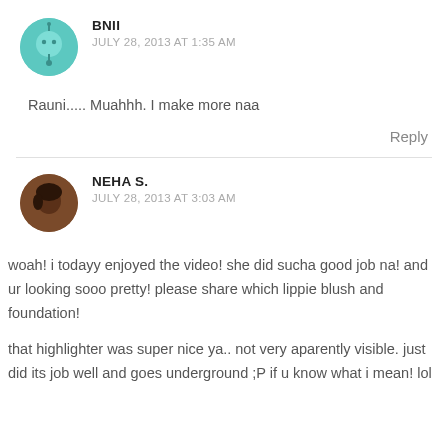BNII
JULY 28, 2013 AT 1:35 AM
Rauni..... Muahhh. I make more naa
Reply
NEHA S.
JULY 28, 2013 AT 3:03 AM
woah! i todayy enjoyed the video! she did sucha good job na! and ur looking sooo pretty! please share which lippie blush and foundation!
that highlighter was super nice ya.. not very aparently visible. just did its job well and goes underground ;P if u know what i mean! lol